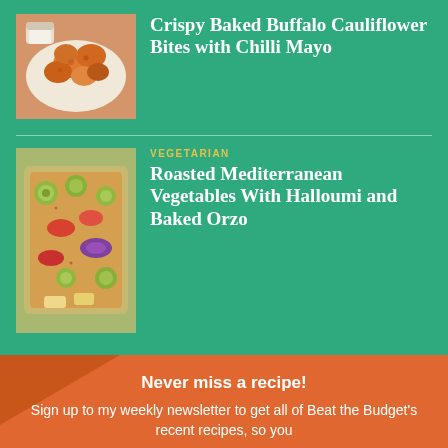[Figure (photo): Photo of crispy baked buffalo cauliflower bites on a plate]
Crispy Baked Buffalo Cauliflower Bites with Chilli Mayo
VEGETARIAN
[Figure (photo): Photo of roasted Mediterranean vegetables with halloumi and baked orzo in a baking tray]
Roasted Mediterranean Vegetables With Halloumi and Baked Orzo
Never miss a recipe!
Sign up to my weekly newsletter to get all of Beat the Budget's recent recipes, so you